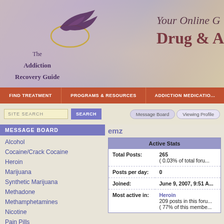[Figure (logo): The Addiction Recovery Guide logo with stylized bird/swoosh and text, with tagline 'Your Online G... Drug & A...']
FIND TREATMENT | PROGRAMS & RESOURCES | ADDICTION MEDICATIO...
SITE SEARCH [search box] SEARCH | Message Board | Viewing Profile
MESSAGE BOARD
Alcohol
Cocaine/Crack Cocaine
Heroin
Marijuana
Synthetic Marijuana
Methadone
Methamphetamines
Nicotine
Pain Pills
emz
|  | Active Stats |
| --- | --- |
| Total Posts: | 265
( 0.03% of total foru... |
| Posts per day: | 0 |
| Joined: | June 9, 2007, 9:51 A... |
| Most active in: | Heroin
209 posts in this foru...
( 77% of this membe... |